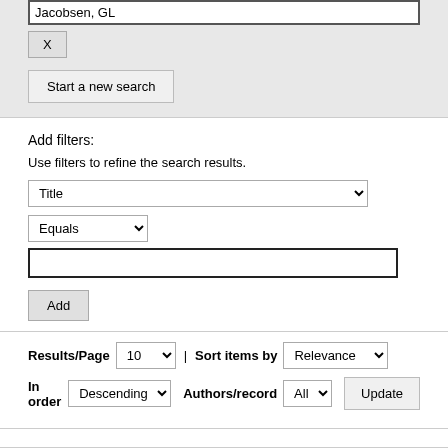Jacobsen, GL
X
Start a new search
Add filters:
Use filters to refine the search results.
Title
Equals
Add
Results/Page  10  |  Sort items by  Relevance
In order  Descending  Authors/record  All  Update
Results 1-10 of 89 (Search time: 0.007 seconds).